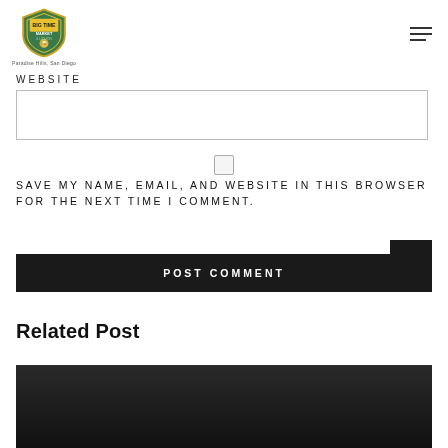Big Time Market & Liquor — Paradise Hills, San Diego
WEBSITE
SAVE MY NAME, EMAIL, AND WEBSITE IN THIS BROWSER FOR THE NEXT TIME I COMMENT.
POST COMMENT
Related Post
[Figure (photo): Dark image related post thumbnail]